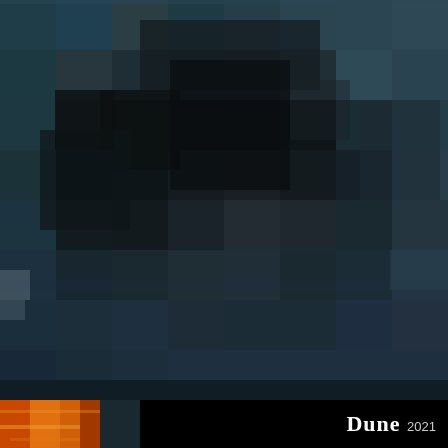[Figure (photo): Heavily pixelated/blurred dark cinematic image showing silhouetted figures in dark teal and grey tones, appearing to be a movie still from Dune (2021). The image is very low resolution making details indistinct.]
[Figure (photo): Small thumbnail image in the bottom left showing orange/amber desert sand or light, associated with the Dune 2021 film.]
Dune 2021